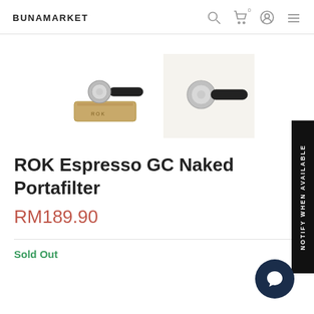BUNAMARKET
[Figure (photo): Two product thumbnail images of ROK Espresso GC Naked Portafilter: left shows portafilter on a wooden box, right shows portafilter on white/beige background]
ROK Espresso GC Naked Portafilter
RM189.90
Sold Out